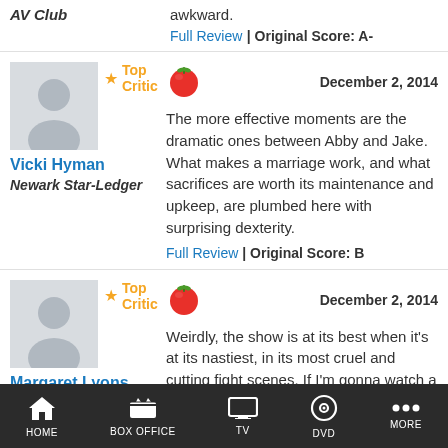AV Club
awkward.
Full Review | Original Score: A-
[Figure (illustration): Reviewer avatar placeholder (grey silhouette)]
★ Top Critic
Vicki Hyman
Newark Star-Ledger
[Figure (illustration): Red tomato fresh icon]
December 2, 2014
The more effective moments are the dramatic ones between Abby and Jake. What makes a marriage work, and what sacrifices are worth its maintenance and upkeep, are plumbed here with surprising dexterity.
Full Review | Original Score: B
[Figure (illustration): Reviewer avatar placeholder (grey silhouette)]
★ Top Critic
Margaret Lyons
New York Magazine/Vulture
[Figure (illustration): Red tomato fresh icon]
December 2, 2014
Weirdly, the show is at its best when it's at its nastiest, in its most cruel and cutting fight scenes. If I'm gonna watch a show about people getting divorced, I want to really get how divorce-y everything is.
Full Review
HOME | BOX OFFICE | TV | DVD | MORE